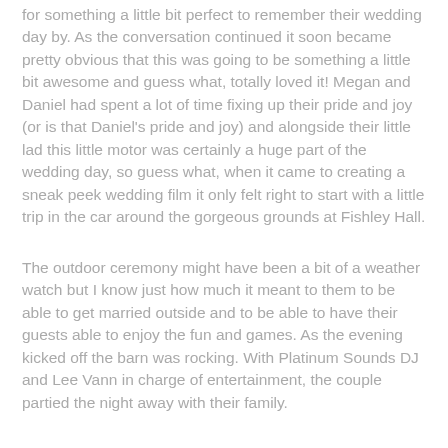for something a little bit perfect to remember their wedding day by. As the conversation continued it soon became pretty obvious that this was going to be something a little bit awesome and guess what, totally loved it! Megan and Daniel had spent a lot of time fixing up their pride and joy (or is that Daniel's pride and joy) and alongside their little lad this little motor was certainly a huge part of the wedding day, so guess what, when it came to creating a sneak peek wedding film it only felt right to start with a little trip in the car around the gorgeous grounds at Fishley Hall.
The outdoor ceremony might have been a bit of a weather watch but I know just how much it meant to them to be able to get married outside and to be able to have their guests able to enjoy the fun and games. As the evening kicked off the barn was rocking. With Platinum Sounds DJ and Lee Vann in charge of entertainment, the couple partied the night away with their family.